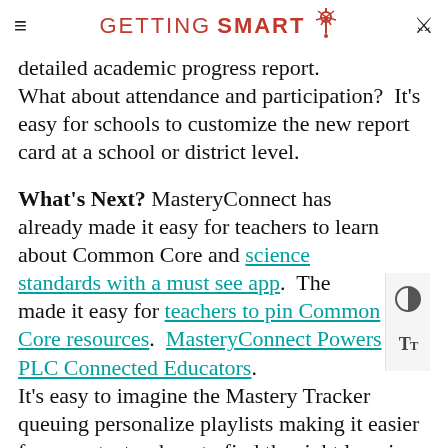GETTING SMART
detailed academic progress report. What about attendance and participation?  It's easy for schools to customize the new report card at a school or district level.
What's Next? MasteryConnect has already made it easy for teachers to learn about Common Core and science standards with a must see app.  The made it easy for teachers to pin Common Core resources.  MasteryConnect Powers PLC Connected Educators. It's easy to imagine the Mastery Tracker queuing personalize playlists making it easier for parents, teachers to find the right learning resources for individual students. At some point